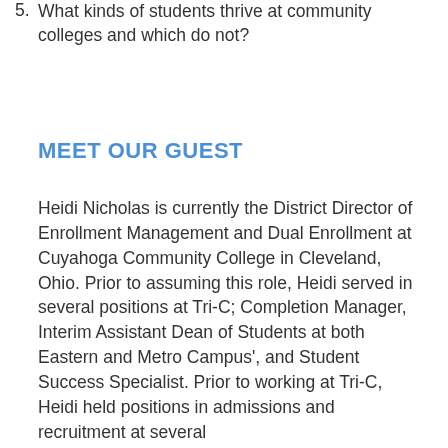5. What kinds of students thrive at community colleges and which do not?
MEET OUR GUEST
Heidi Nicholas is currently the District Director of Enrollment Management and Dual Enrollment at Cuyahoga Community College in Cleveland, Ohio. Prior to assuming this role, Heidi served in several positions at Tri-C; Completion Manager, Interim Assistant Dean of Students at both Eastern and Metro Campus', and Student Success Specialist. Prior to working at Tri-C, Heidi held positions in admissions and recruitment at several